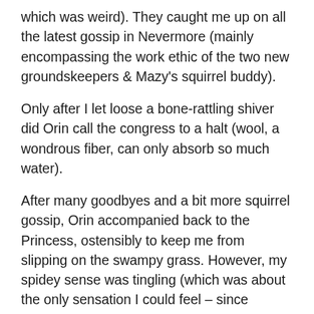which was weird). They caught me up on all the latest gossip in Nevermore (mainly encompassing the work ethic of the two new groundskeepers & Mazy's squirrel buddy).
Only after I let loose a bone-rattling shiver did Orin call the congress to a halt (wool, a wondrous fiber, can only absorb so much water).
After many goodbyes and a bit more squirrel gossip, Orin accompanied back to the Princess, ostensibly to keep me from slipping on the swampy grass. However, my spidey sense was tingling (which was about the only sensation I could feel – since everything between and including my fingers and toes felt numb). He waited until we were well away from the others before he spoke.
Orin (quietly): “I happened upon an Errant, Caretaker.”